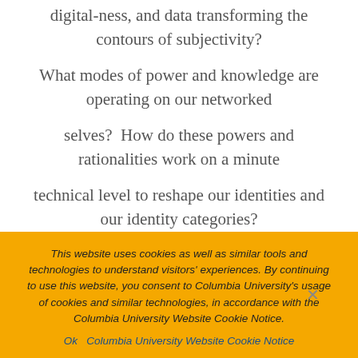digital-ness, and data transforming the contours of subjectivity? What modes of power and knowledge are operating on our networked selves?  How do these powers and rationalities work on a minute technical level to reshape our identities and our identity categories? These questions have enormous stakes in our contemporary age of big
This website uses cookies as well as similar tools and technologies to understand visitors' experiences. By continuing to use this website, you consent to Columbia University's usage of cookies and similar technologies, in accordance with the Columbia University Website Cookie Notice.
Ok   Columbia University Website Cookie Notice